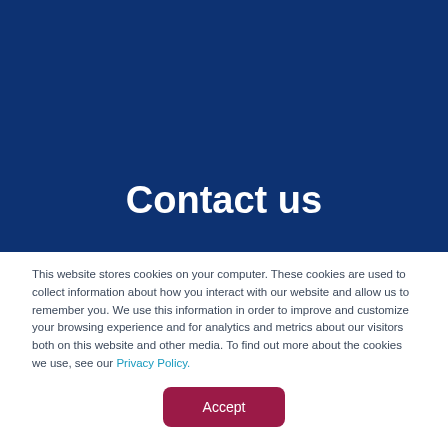Contact us
This website stores cookies on your computer. These cookies are used to collect information about how you interact with our website and allow us to remember you. We use this information in order to improve and customize your browsing experience and for analytics and metrics about our visitors both on this website and other media. To find out more about the cookies we use, see our Privacy Policy.